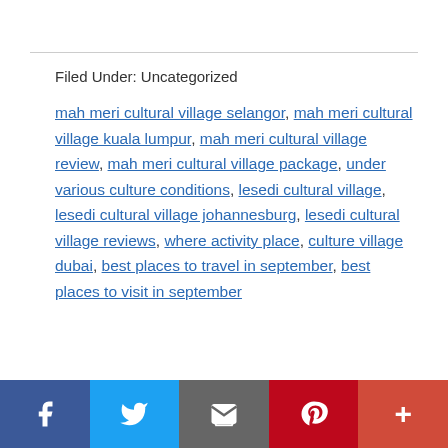Filed Under: Uncategorized
mah meri cultural village selangor, mah meri cultural village kuala lumpur, mah meri cultural village review, mah meri cultural village package, under various culture conditions, lesedi cultural village, lesedi cultural village johannesburg, lesedi cultural village reviews, where activity place, culture village dubai, best places to travel in september, best places to visit in september
Hanoi's health sector issues monkeypox monitoring guidance at Noi Bai Int'l
Facebook Twitter Email Pinterest More